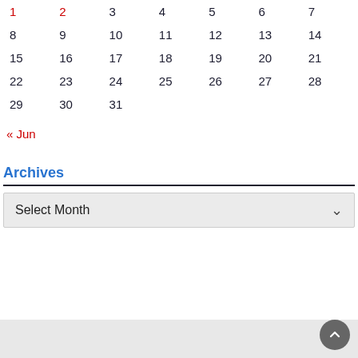| 1 | 2 | 3 | 4 | 5 | 6 | 7 |
| 8 | 9 | 10 | 11 | 12 | 13 | 14 |
| 15 | 16 | 17 | 18 | 19 | 20 | 21 |
| 22 | 23 | 24 | 25 | 26 | 27 | 28 |
| 29 | 30 | 31 |  |  |  |  |
« Jun
Archives
Select Month